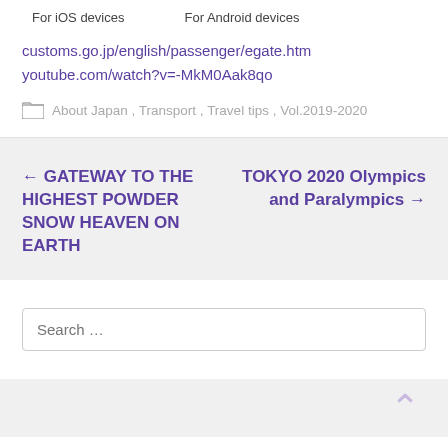For iOS devices    For Android devices
customs.go.jp/english/passenger/egate.htm
youtube.com/watch?v=-MkM0Aak8qo
About Japan , Transport , Travel tips , Vol.2019-2020
← GATEWAY TO THE HIGHEST POWDER SNOW HEAVEN ON EARTH
TOKYO 2020 Olympics and Paralympics →
Search …